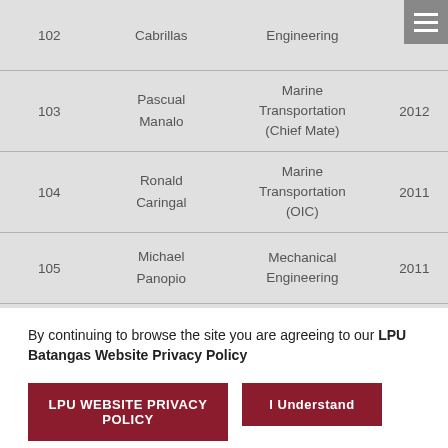| No. | Name | Department | Year |
| --- | --- | --- | --- |
| 102 | Cabrillas | Engineering |  |
| 103 | Pascual Manalo | Marine Transportation (Chief Mate) | 2012 |
| 104 | Ronald Caringal | Marine Transportation (OIC) | 2011 |
| 105 | Michael Panopio | Mechanical Engineering | 2011 |
| 106 | Limuel Bisa | Marine Engineering | 2011 |
By continuing to browse the site you are agreeing to our LPU Batangas Website Privacy Policy
LPU WEBSITE PRIVACY POLICY
I Understand